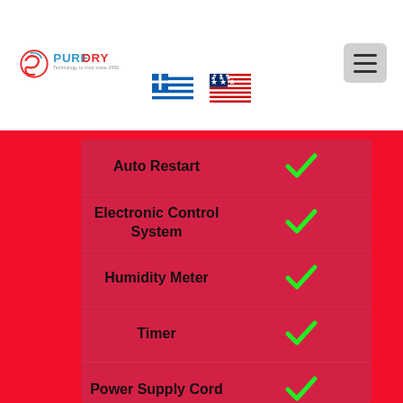[Figure (logo): PureDry logo with stylized SOS graphic and red/blue text]
[Figure (other): Greek flag and US flag icons for language selection]
| Feature | Value |
| --- | --- |
| Auto Restart | ✓ |
| Electronic Control System | ✓ |
| Humidity Meter | ✓ |
| Timer | ✓ |
| Power Supply Cord | ✓ |
| Dimensions (L.H.W) | 767 x 1720 x 463 mm |
| Weight | 105 Kg |